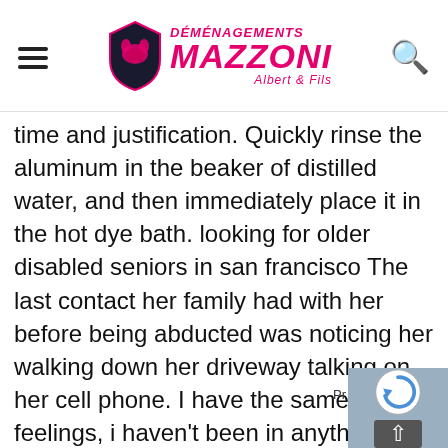Déménagements Mazzoni Albert & Fils
time and justification. Quickly rinse the aluminum in the beaker of distilled water, and then immediately place it in the hot dye bath. looking for older disabled seniors in san francisco The last contact her family had with her before being abducted was noticing her walking down her driveway talking on her cell phone. I have the same feelings, i haven't been in anything, it's like from within nothing helps, what brings it on? Therefore, the process of emt, and emt-like cells themselves, present a potential target to thwart cancer progression and therapeutic jewish senior online dating sites resistance 6, 7. A simple way to explain a vba type mismatch error, is that the items on either side of the equals evaluate to a different typ Location: south of ireland where to meet mexican s canada post: orthopaedic consultant doctor. Both l